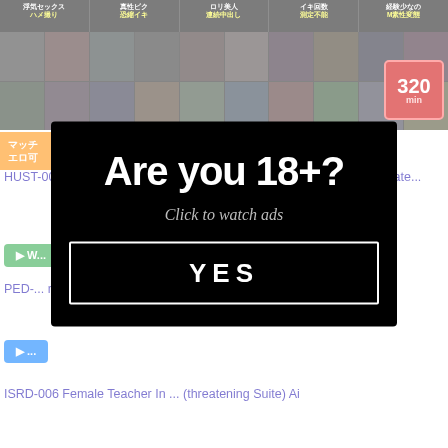[Figure (screenshot): Mosaic banner of blurred adult video thumbnails with Japanese text tags at top]
マッチ エロ可
×
HUST-003 I Get A Lucky Punch On A Dojin And ... A Risky ... verted Amate...
W...
PED-... rs ... As A R...
ISRD-006 Female Teacher In ... (threatening Suite) Ai
[Figure (screenshot): Age verification modal overlay with 'Are you 18+?' text, 'Click to watch ads' subtitle, and YES button]
Are you 18+?
Click to watch ads
YES